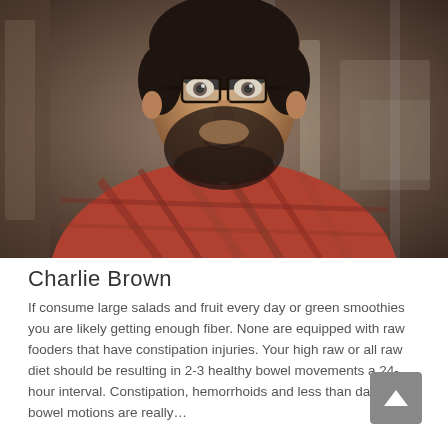[Figure (photo): Portrait photo of a bearded man with glasses, wearing a plaid red/brown flannel shirt, smiling, with a blurred office background.]
Charlie Brown
If consume large salads and fruit every day or green smoothies you are likely getting enough fiber. None are equipped with raw fooders that have constipation injuries. Your high raw or all raw diet should be resulting in 2-3 healthy bowel movements a 24-hour interval. Constipation, hemorrhoids and less than daily bowel motions are really…